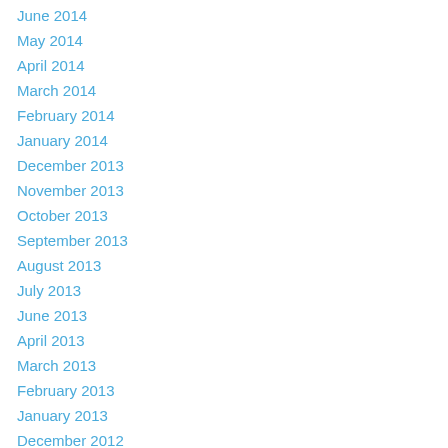June 2014
May 2014
April 2014
March 2014
February 2014
January 2014
December 2013
November 2013
October 2013
September 2013
August 2013
July 2013
June 2013
April 2013
March 2013
February 2013
January 2013
December 2012
November 2012
October 2012